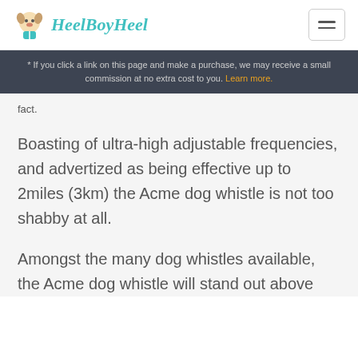HeelBoyHeel
* If you click a link on this page and make a purchase, we may receive a small commission at no extra cost to you. Learn more.
fact.
Boasting of ultra-high adjustable frequencies, and advertized as being effective up to 2miles (3km) the Acme dog whistle is not too shabby at all.
Amongst the many dog whistles available, the Acme dog whistle will stand out above